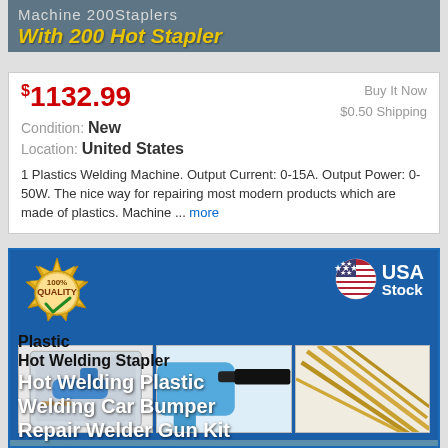[Figure (screenshot): Top of product listing header showing 'Machine 200Staplers' in gray and 'With 200 Hot Stapler' in gold italic text on dark teal background]
$1132.99
Buy It Now
$0.50 Shipping
Condition: New
Location: United States
1 Plastics Welding Machine. Output Current: 0-15A. Output Power: 0-50W. The nice way for repairing most modern products which are made of plastics. Machine ... more
[Figure (photo): Product listing image for a Plastic Hot Welding Stapler / Plastic Welding Car Bumper Repair Welder Gun Kit, showing the blue gun tool, small product images row with case and components, 100% Quality gold badge, and USA Stock badge with American flag icon]